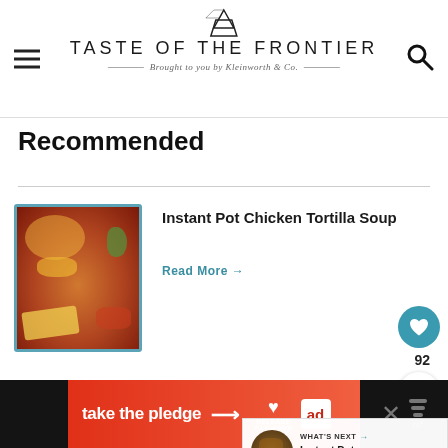TASTE OF THE FRONTIER — Brought to you by Kleinworth & Co.
Recommended
Instant Pot Chicken Tortilla Soup
[Figure (photo): Bowl of chicken tortilla soup with chips, corn, tomatoes, and herbs]
Read More →
Buffalo Chicken Wings
[Figure (photo): Buffalo chicken wings with dipping sauce]
WHAT'S NEXT → Instant Pot Teriyaki...
[Figure (photo): Ad banner: take the pledge]
take the pledge →